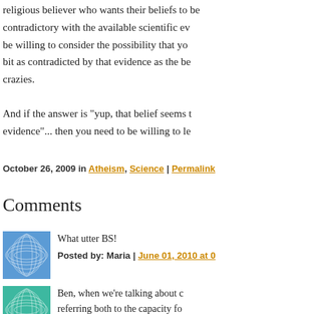religious believer who wants their beliefs to be contradictory with the available scientific evidence... be willing to consider the possibility that you are a bit as contradicted by that evidence as the believers crazies.
And if the answer is "yup, that belief seems to evidence"... then you need to be willing to le
October 26, 2009 in Atheism, Science | Permalink
Comments
What utter BS!
Posted by: Maria | June 01, 2010 at 0
Ben, when we're talking about c referring both to the capacity fo capacity for perception. Both of